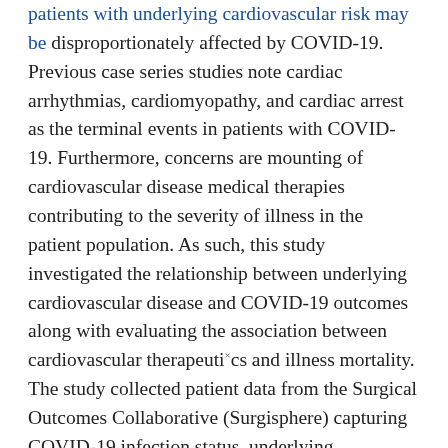patients with underlying cardiovascular risk may be disproportionately affected by COVID-19. Previous case series studies note cardiac arrhythmias, cardiomyopathy, and cardiac arrest as the terminal events in patients with COVID-19. Furthermore, concerns are mounting of cardiovascular disease medical therapies contributing to the severity of illness in the patient population. As such, this study investigated the relationship between underlying cardiovascular disease and COVID-19 outcomes along with evaluating the association between cardiovascular therapeutics and illness mortality. The study collected patient data from the Surgical Outcomes Collaborative (Surgisphere) capturing COVID-19 infection status, underlying cardiovascular disease, and current cardiovascular medications. The study found underlying cardiovascular disease was independently associated with an increased risk of in-hospital death. The results did not show an increased risk of in-hospital mortality with ACE inhibitor or ARB use. This retrospective study was limited by the geographic